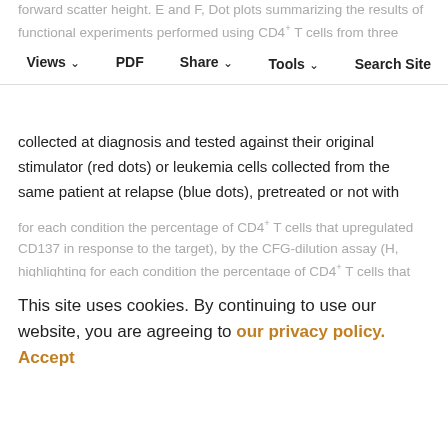forward scatter height. E and F, Dot plots summarizing the results of functional experiments performed using CD4+ T cells from three different healthy individuals against AML cells from UPN01 (E) or UPN05 (F). Purified CD4+ T cells were primed against AML blasts
Split-Screen   Views   PDF   Share   Tools   Search Site   Versions
collected at diagnosis and tested against their original stimulator (red dots) or leukemia cells collected from the same patient at relapse (blue dots), pretreated or not with EPZ-6438 or with IFNy. For each panel, the left-side plot shows CD4+ T-cell degranulation and the right-side plot shows the corresponding results in terms of target cell death (subtracting the spontaneous cell death detected in target cells). Ann V–pos, Annexin V–positive. G−J, Third-party CD4+ T cells alloreactive to HLA-DPB1*04:01 were tested against diagnosis and relapse target cells from UPN01 (G and H) or UPN03 (I and J), by a CD137 expression assay (G and I; showing
for each condition the percentage of CD4+ T cells that upregulated CD137 in response to the target), by the CFG-dilution assay (H, highlighting for each condition the percentage of CD4+ T cells that upon proliferation diluted the vital dye), and by a cytotoxicity assay
This site uses cookies. By continuing to use our website, you are agreeing to our privacy policy. Accept